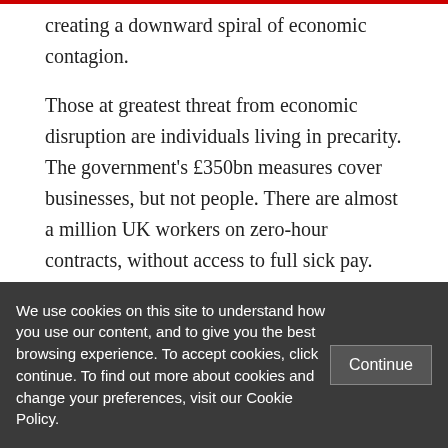creating a downward spiral of economic contagion.
Those at greatest threat from economic disruption are individuals living in precarity. The government's £350bn measures cover businesses, but not people. There are almost a million UK workers on zero-hour contracts, without access to full sick pay. Many are living hand-to-mouth and cannot afford
We use cookies on this site to understand how you use our content, and to give you the best browsing experience. To accept cookies, click continue. To find out more about cookies and change your preferences, visit our Cookie Policy.